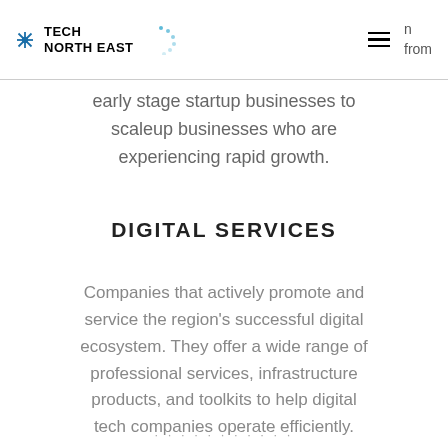TECH NORTH EAST [logo] n from
early stage startup businesses to scaleup businesses who are experiencing rapid growth.
DIGITAL SERVICES
Companies that actively promote and service the region's successful digital ecosystem. They offer a wide range of professional services, infrastructure products, and toolkits to help digital tech companies operate efficiently.